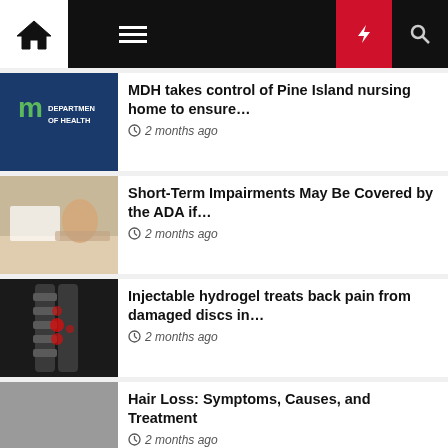Navigation bar with home, menu, dark mode, lightning/breaking, and search icons
[Figure (screenshot): Minnesota Department of Health logo thumbnail – blue background with 'm' logo and text 'DEPARTMENT OF HEALTH']
MDH takes control of Pine Island nursing home to ensure…
2 months ago
[Figure (photo): Person at a desk writing, medical/paperwork scene]
Short-Term Impairments May Be Covered by the ADA if…
2 months ago
[Figure (photo): MRI spine scan with red highlighted pain areas]
Injectable hydrogel treats back pain from damaged discs in…
2 months ago
[Figure (photo): Gray placeholder image for hair loss article]
Hair Loss: Symptoms, Causes, and Treatment
2 months ago
[Figure (photo): Person with dark hair, back visible, back acne article thumbnail]
The 13 Best Back Acne Treatments for Body Breakouts